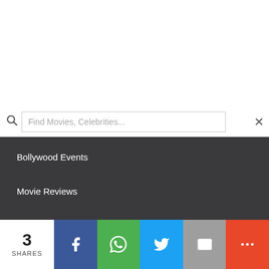[Figure (screenshot): Search bar with magnifying glass icon, placeholder text 'Find Movies, Celebrities...', and an X close button on white background]
Bollywood Events
Movie Reviews
Movie Previews
Movie Pictures
Movie Wallpapers
Videos
[Figure (screenshot): Bottom social share bar with 3 SHARES count, Facebook, WhatsApp, Twitter, Email, and More buttons]